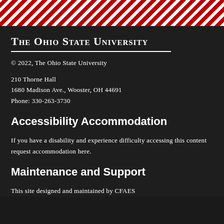[Figure (illustration): Diagonal red and white striped decorative bar at top of page]
The Ohio State University
© 2022, The Ohio State University
210 Thorne Hall
1680 Madison Ave., Wooster, OH 44691
Phone: 330-263-3730
Accessibility Accommodation
If you have a disability and experience difficulty accessing this content request accommodation here.
Maintenance and Support
This site designed and maintained by CFAES